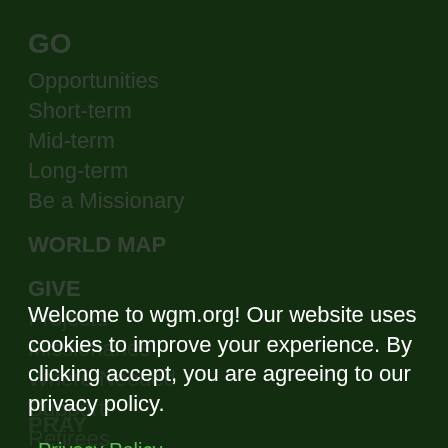GO
Opportunities
Short-term
Mid-term
Long-term
Be a Missionary
WORLD MAP
GIVE
Projects
Missionaries
Where Needed
Support
Retirees
In Honor
Planned Giving
Questions?
Welcome to wgm.org! Our website uses cookies to improve your experience. By clicking accept, you are agreeing to our privacy policy.
Privacy Policy
Accept
PRAY